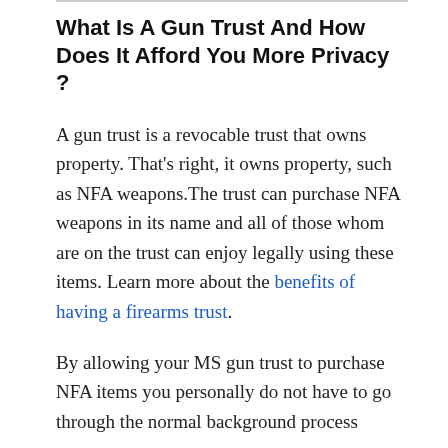What Is A Gun Trust And How Does It Afford You More Privacy ?
A gun trust is a revocable trust that owns property. That's right, it owns property, such as NFA weapons.The trust can purchase NFA weapons in its name and all of those whom are on the trust can enjoy legally using these items. Learn more about the benefits of having a firearms trust.
By allowing your MS gun trust to purchase NFA items you personally do not have to go through the normal background process